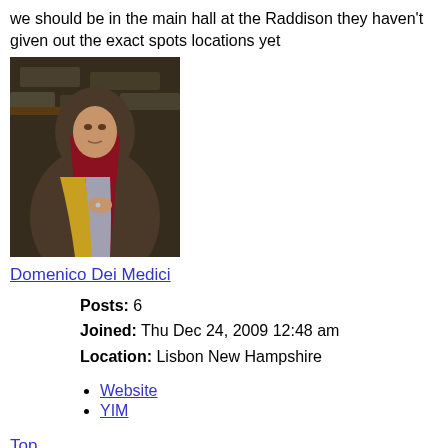we should be in the main hall at the Raddison they haven't given out the exact spots locations yet
[Figure (photo): Person wearing a hooded medieval-style cloak with red, yellow, and grey fabric, standing in a dimly lit stone setting]
Domenico Dei Medici
Posts: 6
Joined: Thu Dec 24, 2009 12:48 am
Location: Lisbon New Hampshire
Website
YIM
Top